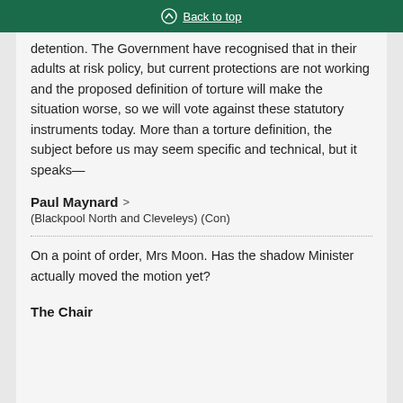Back to top
detention. The Government have recognised that in their adults at risk policy, but current protections are not working and the proposed definition of torture will make the situation worse, so we will vote against these statutory instruments today. More than a torture definition, the subject before us may seem specific and technical, but it speaks—
Paul Maynard
(Blackpool North and Cleveleys) (Con)
On a point of order, Mrs Moon. Has the shadow Minister actually moved the motion yet?
The Chair